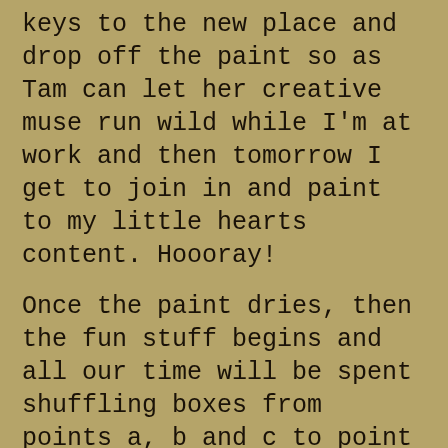keys to the new place and drop off the paint so as Tam can let her creative muse run wild while I'm at work and then tomorrow I get to join in and paint to my little hearts content. Hoooray!
Once the paint dries, then the fun stuff begins and all our time will be spent shuffling boxes from points a, b and c to point d. Then it will be the ever so fun task of going through all our collective accoutrements and deciding what all we have, what all we're going to keep, who gets to throw out what, and who gets to share their toys. It'll be grand fun.
I'll take some pics of the new place when I get there today so as we have some before and after pics.